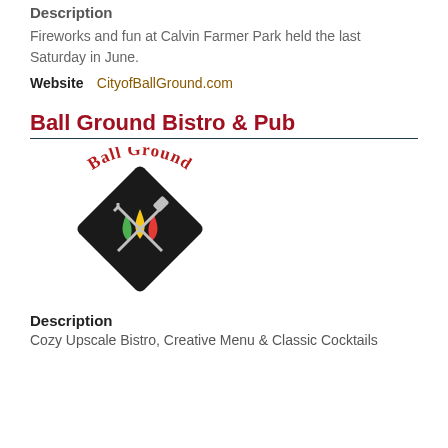Description
Fireworks and fun at Calvin Farmer Park held the last Saturday in June.
Website  CityofBallGround.com
Ball Ground Bistro & Pub
[Figure (logo): Ball Ground Bistro & Pub logo: circular design with crossed fork and spatula utensils over a flame motif, text 'Ball Ground' arched on top in red, 'Bistro & Pub' below in red.]
Description
Cozy Upscale Bistro, Creative Menu & Classic Cocktails